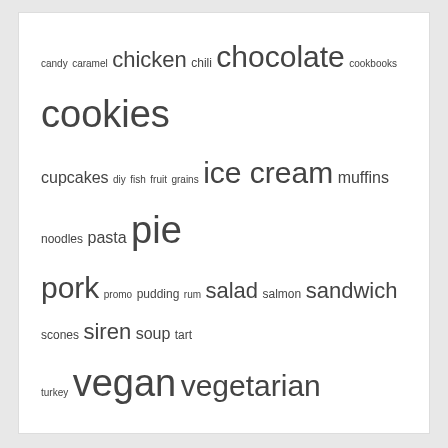candy caramel chicken chili chocolate cookbooks cookies cupcakes diy fish fruit grains ice cream muffins noodles pasta pie pork promo pudding rum salad salmon sandwich scones siren soup tart turkey vegan vegetarian
CATEGORIES
Select Category
ARCHIVES
Select Month